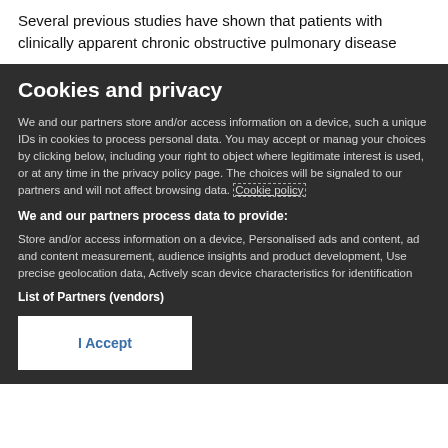Several previous studies have shown that patients with clinically apparent chronic obstructive pulmonary disease
Cookies and privacy
We and our partners store and/or access information on a device, such as unique IDs in cookies to process personal data. You may accept or manage your choices by clicking below, including your right to object where legitimate interest is used, or at any time in the privacy policy page. These choices will be signaled to our partners and will not affect browsing data. Cookie policy
We and our partners process data to provide:
Store and/or access information on a device, Personalised ads and content, ad and content measurement, audience insights and product development, Use precise geolocation data, Actively scan device characteristics for identification
List of Partners (vendors)
I Accept